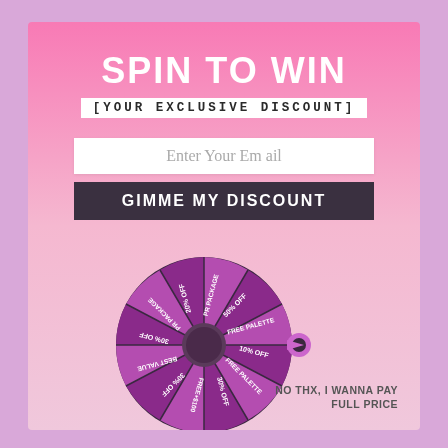SPIN TO WIN
[YOUR EXCLUSIVE DISCOUNT]
Enter Your Email
GIMME MY DISCOUNT
[Figure (infographic): A spin-to-win prize wheel with multiple segments in purple and dark purple, showing prizes like 10% OFF, 20% OFF, 30% OFF, 50% OFF, FREE PALETTE, PR PACKAGE, FREE PALETTE, BEST VALUE, with a pointer arrow on the right side.]
NO THX, I WANNA PAY FULL PRICE